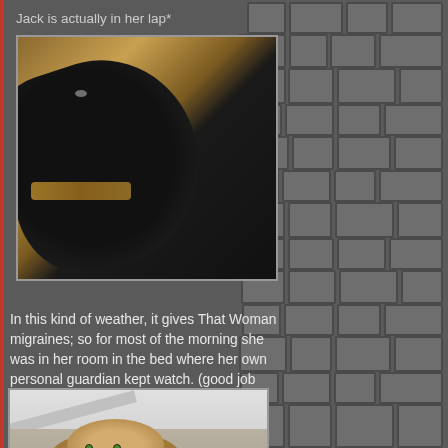Jack is actually in her lap*
[Figure (photo): Black cat lying on its back on a patterned brown/tan blanket or couch]
In this kind of weather, it gives That Woman migraines; so for most of the morning she was in her room in the bed where her own personal guardian kept watch. (good job Jengs)
[Figure (photo): Tabby cat sitting on a bed, looking up at the camera, with white ceiling/wall in background]